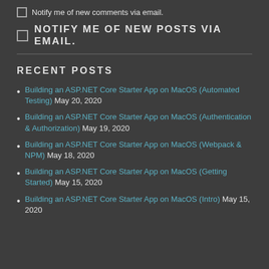Notify me of new comments via email.
NOTIFY ME OF NEW POSTS VIA EMAIL.
RECENT POSTS
Building an ASP.NET Core Starter App on MacOS (Automated Testing) May 20, 2020
Building an ASP.NET Core Starter App on MacOS (Authentication & Authorization) May 19, 2020
Building an ASP.NET Core Starter App on MacOS (Webpack & NPM) May 18, 2020
Building an ASP.NET Core Starter App on MacOS (Getting Started) May 15, 2020
Building an ASP.NET Core Starter App on MacOS (Intro) May 15, 2020